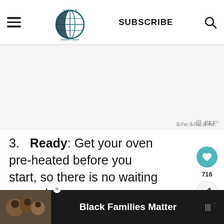food fun & faraway places — SUBSCRIBE
3.  Ready: Get your oven pre-heated before you start, so there is no waiting around.
Get Ahead of the Game
WHAT'S NEXT → Easy Pumpkin Bars with...
Black Families Matter